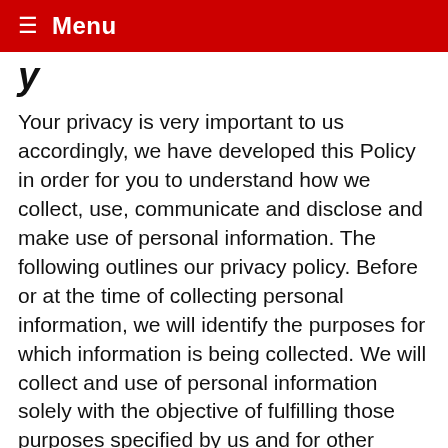≡ Menu
y
Your privacy is very important to us accordingly, we have developed this Policy in order for you to understand how we collect, use, communicate and disclose and make use of personal information. The following outlines our privacy policy. Before or at the time of collecting personal information, we will identify the purposes for which information is being collected. We will collect and use of personal information solely with the objective of fulfilling those purposes specified by us and for other compatible purposes, unless we obtain the consent of the individual concerned or as required by law. We will only retain personal information as long as necessary for the fulfilment of those purposes. We will collect personal information by lawful and fair means and, where appropriate, with the knowledge or consent of the individual concerned. Personal data should be relevant to the purposes for which it is to be used, and,